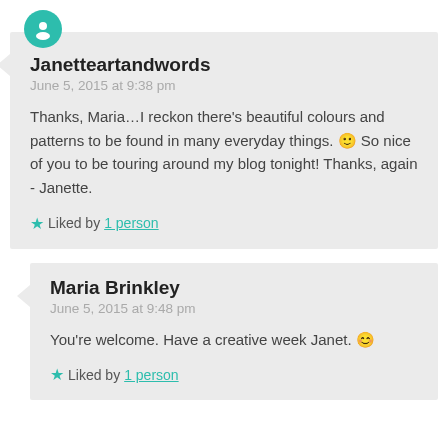Janetteartandwords
June 5, 2015 at 9:38 pm
Thanks, Maria…I reckon there's beautiful colours and patterns to be found in many everyday things. 🙂 So nice of you to be touring around my blog tonight! Thanks, again - Janette.
Liked by 1 person
Maria Brinkley
June 5, 2015 at 9:48 pm
You're welcome. Have a creative week Janet. 😊
Liked by 1 person